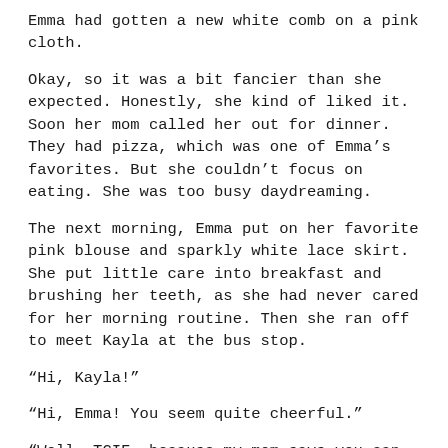Emma had gotten a new white comb on a pink cloth.
Okay, so it was a bit fancier than she expected. Honestly, she kind of liked it. Soon her mom called her out for dinner. They had pizza, which was one of Emma’s favorites. But she couldn’t focus on eating. She was too busy daydreaming.
The next morning, Emma put on her favorite pink blouse and sparkly white lace skirt. She put little care into breakfast and brushing her teeth, as she had never cared for her morning routine. Then she ran off to meet Kayla at the bus stop.
“Hi, Kayla!”
“Hi, Emma! You seem quite cheerful.”
“Well, TGIF, because my mom says you can sleep over!”
“Cool! I’ll text my mom before we get there. And guess what?”
“What?”